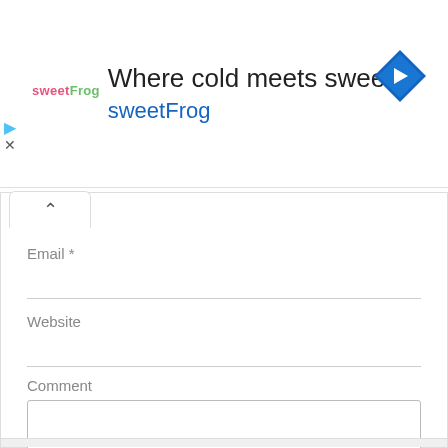[Figure (screenshot): sweetFrog advertisement banner with logo, tagline 'Where cold meets sweet sweetFrog', and a blue navigation arrow icon]
Email *
Website
Comment
Submit